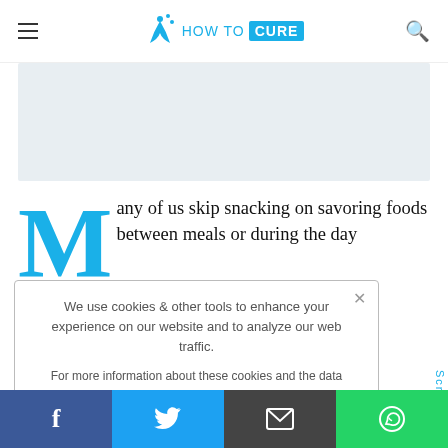HOW TO CURE
[Figure (other): Advertisement banner, light gray rectangle]
Many of us skip snacking on savoring foods between meals or during the day ... ad of ... the ... have to be ... options ... y without
We use cookies & other tools to enhance your experience on our website and to analyze our web traffic.

For more information about these cookies and the data collected, please refer to our Privacy Policy.

I ACCEPT USE OF COOKIES
[Figure (other): Social share bar with Facebook, Twitter, Email, WhatsApp buttons]